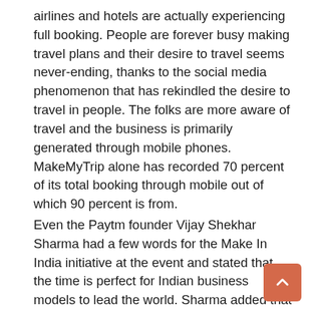airlines and hotels are actually experiencing full booking. People are forever busy making travel plans and their desire to travel seems never-ending, thanks to the social media phenomenon that has rekindled the desire to travel in people. The folks are more aware of travel and the business is primarily generated through mobile phones. MakeMyTrip alone has recorded 70 percent of its total booking through mobile out of which 90 percent is from.
Even the Paytm founder Vijay Shekhar Sharma had a few words for the Make In India initiative at the event and stated that the time is perfect for Indian business models to lead the world. Sharma added that Paytm did 225 million transactions last month and during the fiscal, it is all set to achieve 14 billion gross merchandise value. Lauding the government's initiative, Sharma said that in the